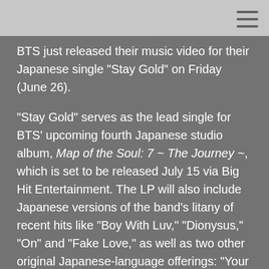BTS just released their music video for their Japanese single "Stay Gold" on Friday (June 26).
"Stay Gold" serves as the lead single for BTS' upcoming fourth Japanese studio album, Map of the Soul: 7 ~ The Journey ~, which is set to be released July 15 via Big Hit Entertainment. The LP will also include Japanese versions of the band's litany of recent hits like "Boy With Luv," "Dionysus," "On" and "Fake Love," as well as two other original Japanese-language offerings: "Your Eyes Tell" and "Lights." ("Stay Gold," meanwhile, also serves as the theme song for Japanese TV drama Spiral Labyrinth -- DNA Science.)
Check out the sunny video for "Stay Gold" below.